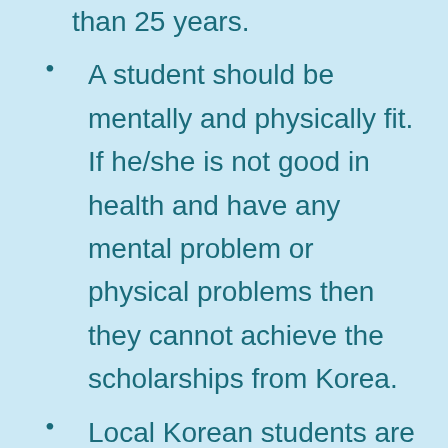than 25 years.
A student should be mentally and physically fit. If he/she is not good in health and have any mental problem or physical problems then they cannot achieve the scholarships from Korea.
Local Korean students are eligible to apply if they are Korean citizens otherwise they will be ineligible for KGSP 2022.
Only those students are eligible to apply for the scholarship who gotten CGPA 80% or more